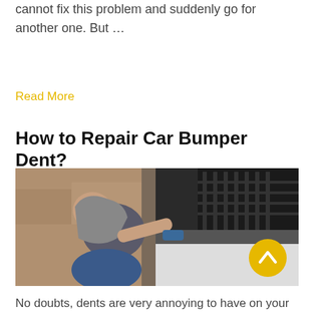cannot fix this problem and suddenly go for another one. But …
Read More
How to Repair Car Bumper Dent?
[Figure (photo): A mechanic crouching down repairing a car bumper dent with a tool, working close to the front grille of a vehicle]
No doubts, dents are very annoying to have on your